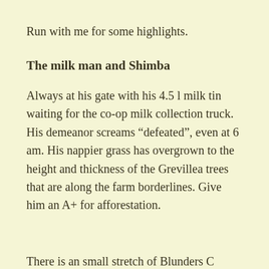Run with me for some highlights.
The milk man and Shimba
Always at his gate with his 4.5 l milk tin waiting for the co-op milk collection truck. His demeanor screams “defeated”, even at 6 am. His nappier grass has overgrown to the height and thickness of the Grevillea trees that are along the farm borderlines. Give him an A+ for afforestation.
There is an small stretch of Blunders C...